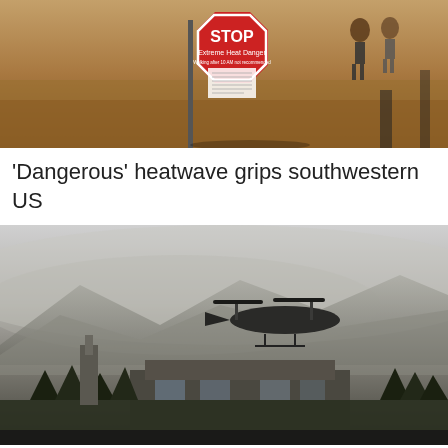[Figure (photo): A red octagonal STOP sign with text 'Extreme Heat Danger, Walking after 10 AM not recommended' in a desert outdoor setting with people walking in the background]
'Dangerous' heatwave grips southwestern US
[Figure (photo): A Chinook helicopter flying over what appears to be a building compound with smoky hazy mountains in the background]
US grounds Chinook helicopter fleet after fuel leaks, engine fires